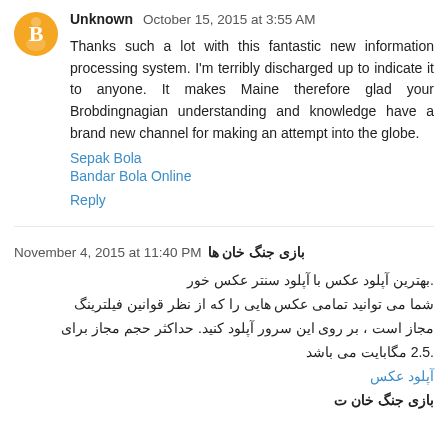Unknown  October 15, 2015 at 3:55 AM
Thanks such a lot with this fantastic new information processing system. I'm terribly discharged up to indicate it to anyone. It makes Maine therefore glad your Brobdingnagian understanding and knowledge have a brand new channel for making an attempt into the globe.
Sepak Bola
Bandar Bola Online
Reply
بازی جنگ خان ها  November 4, 2015 at 11:40 PM
.بهترین آپلود عکس با آپلود سنتر عکس خور
شما می توانید تمامی عکس هایی را که از نظر قوانین فیلترینگ مجاز است ، بر روی این سرور آپلود کنید. حداکثر حجم مجاز برای 2.5. مگابایت می باشد
آپلود عکس
بازی جنگ خان